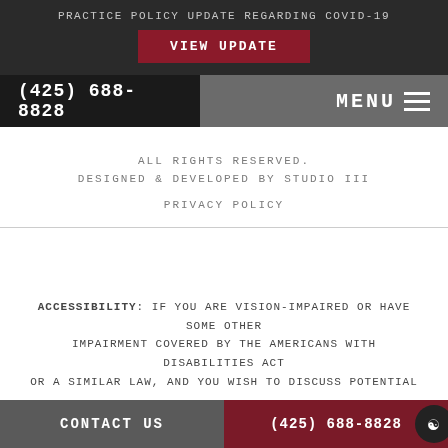PRACTICE POLICY UPDATE REGARDING COVID-19
VIEW UPDATE
(425) 688-8828
MENU
ALL RIGHTS RESERVED.
DESIGNED & DEVELOPED BY STUDIO III
PRIVACY POLICY
ACCESSIBILITY: IF YOU ARE VISION-IMPAIRED OR HAVE SOME OTHER IMPAIRMENT COVERED BY THE AMERICANS WITH DISABILITIES ACT OR A SIMILAR LAW, AND YOU WISH TO DISCUSS POTENTIAL
CONTACT US
(425) 688-8828